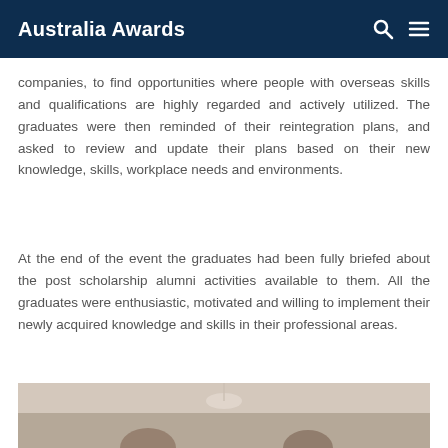Australia Awards
companies, to find opportunities where people with overseas skills and qualifications are highly regarded and actively utilized. The graduates were then reminded of their reintegration plans, and asked to review and update their plans based on their new knowledge, skills, workplace needs and environments.
At the end of the event the graduates had been fully briefed about the post scholarship alumni activities available to them. All the graduates were enthusiastic, motivated and willing to implement their newly acquired knowledge and skills in their professional areas.
[Figure (photo): Partial view of a photo showing what appears to be people at an event, only the top portion is visible]